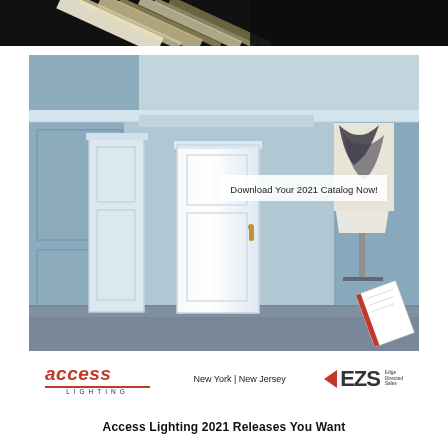[Figure (photo): Abstract diagonal stripe pattern banner at top of page, dark and light alternating stripes]
[Figure (photo): Interior hallway with blue-grey walls, white ceiling light fixture, two white doors, and a catalog booklet visible in the lower right corner]
Download Your 2021 Catalog Now!
[Figure (logo): Access Lighting logo with red text and EZS logo with red arrow, text reads: New York | New Jersey]
Access Lighting 2021 Releases You Want